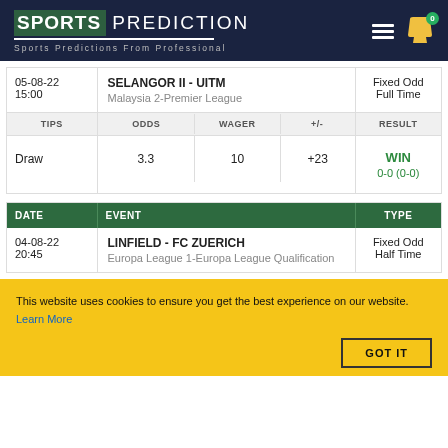SPORTS PREDICTION - Sports Predictions From Professional
| DATE | EVENT | TYPE |
| --- | --- | --- |
| 05-08-22 15:00 | SELANGOR II - UITM
Malaysia 2-Premier League | Fixed Odd Full Time |
| TIPS / ODDS / WAGER / +/- / RESULT |  |  |
| Draw | 3.3 / 10 / +23 | WIN 0-0 (0-0) |
| DATE | EVENT | TYPE |
| --- | --- | --- |
| 04-08-22 20:45 | LINFIELD - FC ZUERICH
Europa League 1-Europa League Qualification | Fixed Odd Half Time |
This website uses cookies to ensure you get the best experience on our website. Learn More
GOT IT